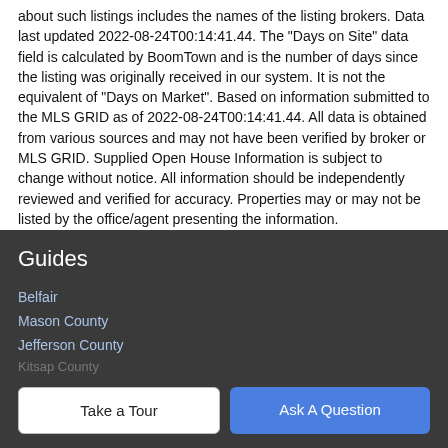about such listings includes the names of the listing brokers. Data last updated 2022-08-24T00:14:41.44. The "Days on Site" data field is calculated by BoomTown and is the number of days since the listing was originally received in our system. It is not the equivalent of "Days on Market". Based on information submitted to the MLS GRID as of 2022-08-24T00:14:41.44. All data is obtained from various sources and may not have been verified by broker or MLS GRID. Supplied Open House Information is subject to change without notice. All information should be independently reviewed and verified for accuracy. Properties may or may not be listed by the office/agent presenting the information.
Guides
Belfair
Mason County
Jefferson County
Kitsap County